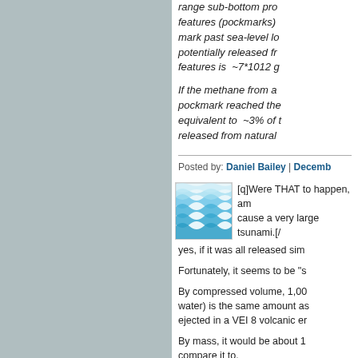range sub-bottom pro features (pockmarks) mark past sea-level lo potentially released fr features is ~7*1012 g
If the methane from a pockmark reached the equivalent to ~3% of released from natural
Posted by: Daniel Bailey | Decemb
[Figure (illustration): Avatar icon showing blue wavy water pattern]
[q]Were THAT to happen, am cause a very large tsunami.[/
yes, if it was all released sim
Fortunately, it seems to be "s
By compressed volume, 1,00 water) is the same amount as ejected in a VEI 8 volcanic er
By mass, it would be about 1 compare it to.